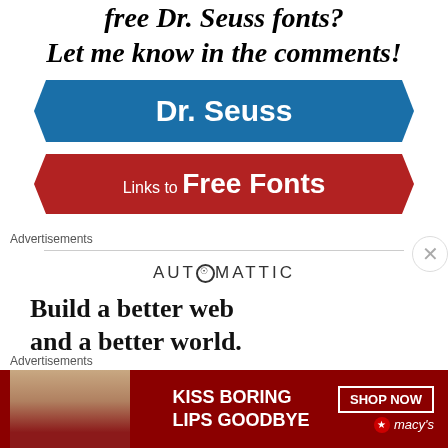free Dr. Seuss fonts? Let me know in the comments!
[Figure (infographic): Blue hexagon badge with white bold text: Dr. Seuss]
[Figure (infographic): Red hexagon badge with white text: Links to Free Fonts]
Advertisements
[Figure (logo): AUTOMATTIC logo with a circle-O]
Build a better web and a better world.
Advertisements
[Figure (infographic): Macy's ad banner: KISS BORING LIPS GOODBYE | SHOP NOW | macys star logo, with a woman's face visible]